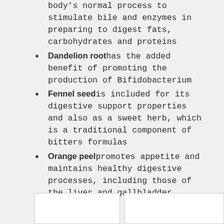(continuation) body's normal process to stimulate bile and enzymes in preparing to digest fats, carbohydrates and proteins
Dandelion root has the added benefit of promoting the production of Bifidobacterium
Fennel seed is included for its digestive support properties and also as a sweet herb, which is a traditional component of bitters formulas
Orange peel promotes appetite and maintains healthy digestive processes, including those of the liver and gallbladder
|  |  |